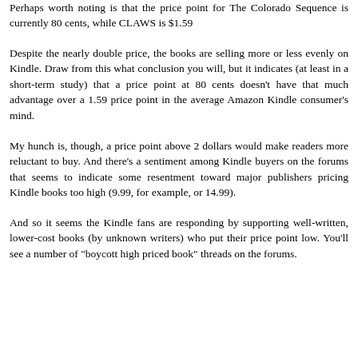category hitting around #33.
Perhaps worth noting is that the price point for The Colorado Sequence is currently 80 cents, while CLAWS is $1.59
Despite the nearly double price, the books are selling more or less evenly on Kindle. Draw from this what conclusion you will, but it indicates (at least in a short-term study) that a price point at 80 cents doesn't have that much advantage over a 1.59 price point in the average Amazon Kindle consumer's mind.
My hunch is, though, a price point above 2 dollars would make readers more reluctant to buy. And there's a sentiment among Kindle buyers on the forums that seems to indicate some resentment toward major publishers pricing Kindle books too high (9.99, for example, or 14.99).
And so it seems the Kindle fans are responding by supporting well-written, lower-cost books (by unknown writers) who put their price point low. You'll see a number of "boycott high priced book" threads on the forums.